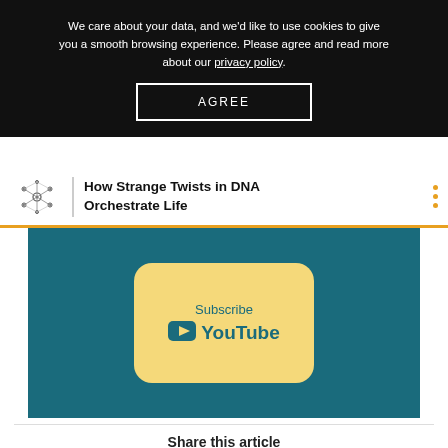We care about your data, and we'd like to use cookies to give you a smooth browsing experience. Please agree and read more about our privacy policy.
AGREE
How Strange Twists in DNA Orchestrate Life
[Figure (screenshot): YouTube Subscribe button graphic on teal background with yellow rounded rectangle containing Subscribe text and YouTube logo]
Share this article